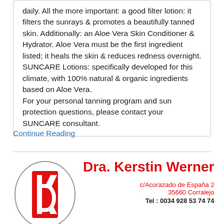daily. All the more important: a good filter lotion: it filters the sunrays & promotes a beautifully tanned skin. Additionally: an Aloe Vera Skin Conditioner & Hydrator. Aloe Vera must be the first ingredient listed; it heals the skin & reduces redness overnight. SUNCARE Lotions: specifically developed for this climate, with 100% natural & organic ingredients based on Aloe Vera.
For your personal tanning program and sun protection questions, please contact your SUNCARE consultant.
Continue Reading
[Figure (logo): Dra. Kerstin Werner medical clinic logo — red letters K and D inside an oval outline with red cross motif, alongside the doctor name and contact details]